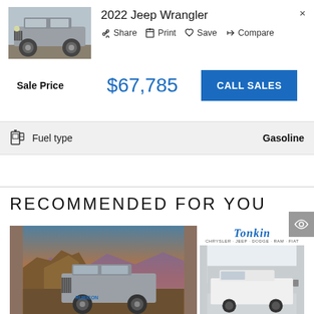[Figure (photo): Silver 2022 Jeep Wrangler thumbnail photo]
2022 Jeep Wrangler
Share   Print   Save   Compare
Sale Price   $67,785
CALL SALES
Fuel type   Gasoline
RECOMMENDED FOR YOU
[Figure (photo): Silver Jeep Wrangler Rubicon in desert landscape with rocky mountains and orange sunset sky]
[Figure (photo): Tonkin Chrysler Jeep Dodge Ram Fiat dealer photo of a white Jeep]